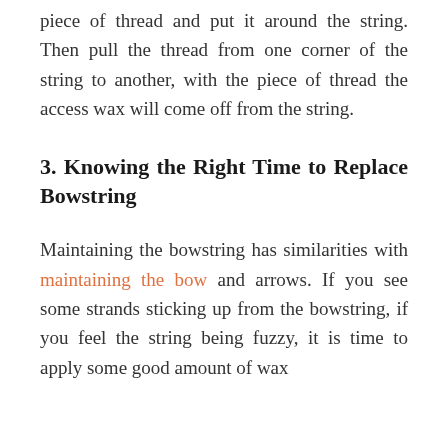piece of thread and put it around the string. Then pull the thread from one corner of the string to another, with the piece of thread the access wax will come off from the string.
3. Knowing the Right Time to Replace Bowstring
Maintaining the bowstring has similarities with maintaining the bow and arrows. If you see some strands sticking up from the bowstring, if you feel the string being fuzzy, it is time to apply some good amount of wax